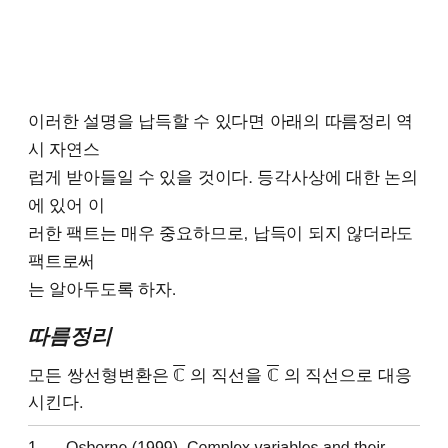이러한 설명을 납득할 수 있다면 아래의 따름정리 역시 자연스럽게 받아들일 수 있을 것이다. 등각사상에 대한 논의에 있어 이러한 팩트는 매우 중요하므로, 납득이 되지 않더라도 팩트로써는 알아두도록 하자.
따름정리
모든 쌍선형변환은 ℂ̄ 의 직선을 ℂ̄ 의 직선으로 대응시킨다.
Osborne (1999). Complex variables and their applications: p202. ↩
2019-03-06   로대사   p422